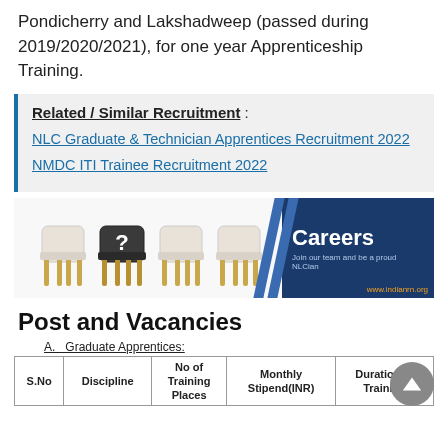Pondicherry and Lakshadweep (passed during 2019/2020/2021), for one year Apprenticeship Training.
Related / Similar Recruitment :
NLC Graduate & Technician Apprentices Recruitment 2022
NMDC ITI Trainee Recruitment 2022
[Figure (illustration): Careers banner image showing chairs (one black with question mark) and a blue panel with 'Careers - Join our team and be a proud NLCian' text and www.indianrn.org watermark]
Post and Vacancies
A. Graduate Apprentices:
| S.No | Discipline | No of Training Places | Monthly Stipend(INR) | Duration of Training |
| --- | --- | --- | --- | --- |